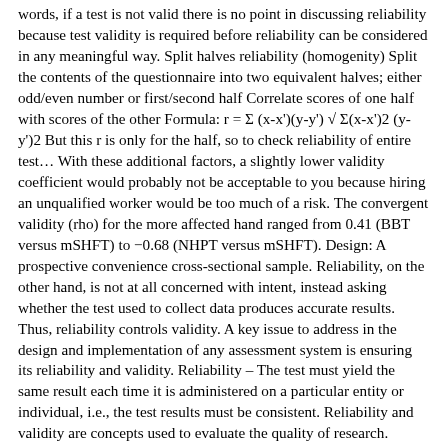words, if a test is not valid there is no point in discussing reliability because test validity is required before reliability can be considered in any meaningful way. Split halves reliability (homogenity) Split the contents of the questionnaire into two equivalent halves; either odd/even number or first/second half Correlate scores of one half with scores of the other Formula: r = Σ (x-x')(y-y') √ Σ(x-x')2 (y-y')2 But this r is only for the half, so to check reliability of entire test… With these additional factors, a slightly lower validity coefficient would probably not be acceptable to you because hiring an unqualified worker would be too much of a risk. The convergent validity (rho) for the more affected hand ranged from 0.41 (BBT versus mSHFT) to −0.68 (NHPT versus mSHFT). Design: A prospective convenience cross-sectional sample. Reliability, on the other hand, is not at all concerned with intent, instead asking whether the test used to collect data produces accurate results. Thus, reliability controls validity. A key issue to address in the design and implementation of any assessment system is ensuring its reliability and validity. Reliability – The test must yield the same result each time it is administered on a particular entity or individual, i.e., the test results must be consistent. Reliability and validity are concepts used to evaluate the quality of research. However, your company will continue efforts to find ways of reducing the adverse impact of the system.Again, these examples demonstrate the complexity of evaluating the validity of assessments. Note: for value r table product moment can be searched on the distribution of the r table